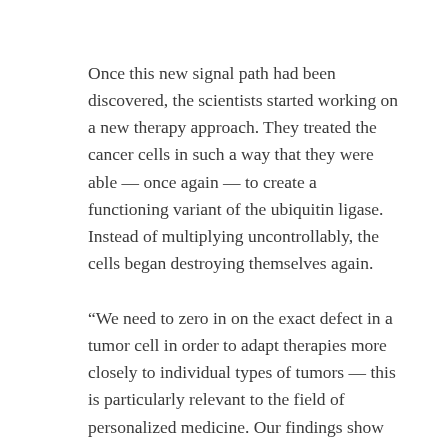Once this new signal path had been discovered, the scientists started working on a new therapy approach. They treated the cancer cells in such a way that they were able — once again — to create a functioning variant of the ubiquitin ligase. Instead of multiplying uncontrollably, the cells began destroying themselves again.
“We need to zero in on the exact defect in a tumor cell in order to adapt therapies more closely to individual types of tumors — this is particularly relevant to the field of personalized medicine. Our findings show that this signal path for mantle cell lymphoma could offer a promising approach for new therapies,” concludes Bassermann.
source :
http://www.sciencedaily.com/releases/2014/12/14121810